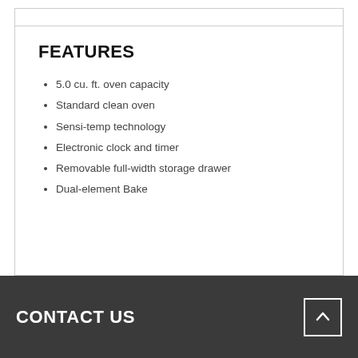FEATURES
5.0 cu. ft. oven capacity
Standard clean oven
Sensi-temp technology
Electronic clock and timer
Removable full-width storage drawer
Dual-element Bake
CONTACT US